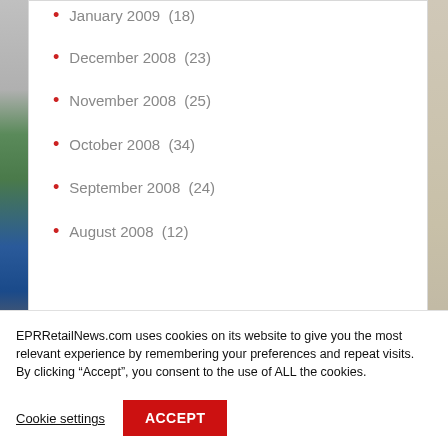January 2009 (18)
December 2008 (23)
November 2008 (25)
October 2008 (34)
September 2008 (24)
August 2008 (12)
BLOGROLL
EPRRetailNews.com uses cookies on its website to give you the most relevant experience by remembering your preferences and repeat visits. By clicking “Accept”, you consent to the use of ALL the cookies.
Cookie settings
ACCEPT